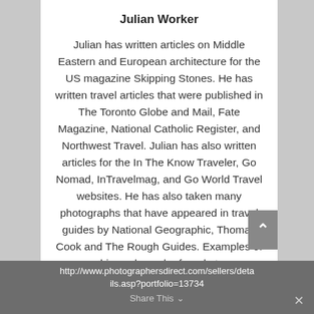Julian Worker
Julian has written articles on Middle Eastern and European architecture for the US magazine Skipping Stones. He has written travel articles that were published in The Toronto Globe and Mail, Fate Magazine, National Catholic Register, and Northwest Travel. Julian has also written articles for the In The Know Traveler, Go Nomad, InTravelmag, and Go World Travel websites. He has also taken many photographs that have appeared in travel guides by National Geographic, Thomas Cook and The Rough Guides. Examples of his work can be found at
http://www.photographersdirect.com/sellers/deta
ils.asp?portfolio=13734
Share This ∨  ×